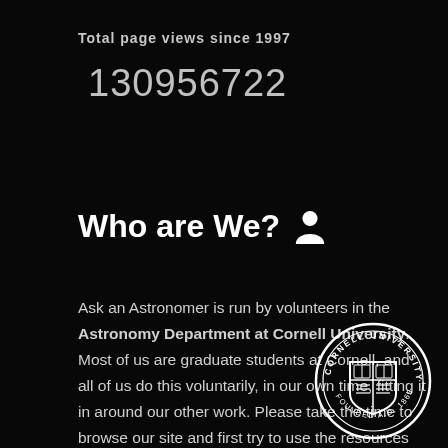Total page views since 1997
130956722
Who are We?
Ask an Astronomer is run by volunteers in the Astronomy Department at Cornell University. Most of us are graduate students at Cornell, and all of us do this voluntarily, in our own time, fitting it in around our other work. Please take the time to browse our site and first try to use the resources online to find an answer to your question.
[Figure (logo): Cornell University seal/logo in white on black background]